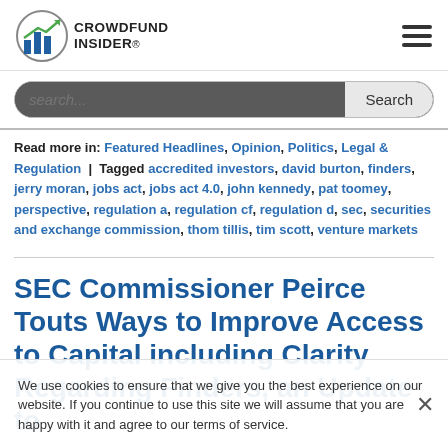[Figure (logo): Crowdfund Insider logo with bar chart icon and text]
search...
Read more in: Featured Headlines, Opinion, Politics, Legal & Regulation | Tagged accredited investors, david burton, finders, jerry moran, jobs act, jobs act 4.0, john kennedy, pat toomey, perspective, regulation a, regulation cf, regulation d, sec, securities and exchange commission, thom tillis, tim scott, venture markets
SEC Commissioner Peirce Touts Ways to Improve Access to Capital including Clarity Regarding Finders, an Update to
We use cookies to ensure that we give you the best experience on our website. If you continue to use this site we will assume that you are happy with it and agree to our terms of service.